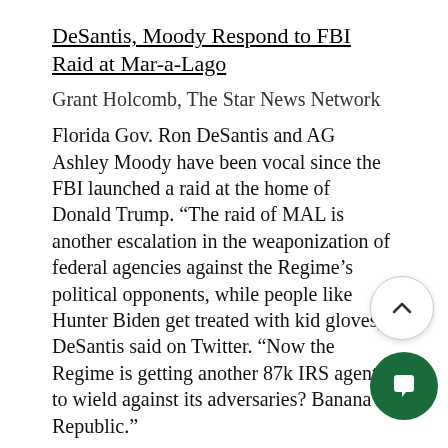DeSantis, Moody Respond to FBI Raid at Mar-a-Lago
Grant Holcomb, The Star News Network
Florida Gov. Ron DeSantis and AG Ashley Moody have been vocal since the FBI launched a raid at the home of Donald Trump. “The raid of MAL is another escalation in the weaponization of federal agencies against the Regime’s political opponents, while people like Hunter Biden get treated with kid gloves,” DeSantis said on Twitter. “Now the Regime is getting another 87k IRS agents to wield against its adversaries? Banana Republic.”